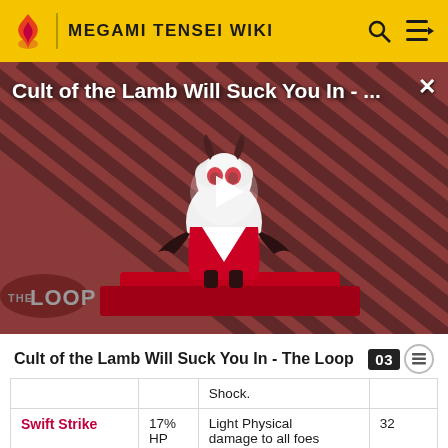MEGAMI TENSEI WIKI
[Figure (screenshot): Video thumbnail for 'Cult of the Lamb Will Suck You In - The Loop' showing a cartoon lamb character on a red dais with 'THE LOOP' branding and a play button overlay, on a diagonal striped red/dark background.]
Cult of the Lamb Will Suck You In - The Loop
| Skill | Cost | Description | Level |
| --- | --- | --- | --- |
|  |  | Shock. |  |
| Swift Strike | 17% HP | Light Physical damage to all foes | 32 |